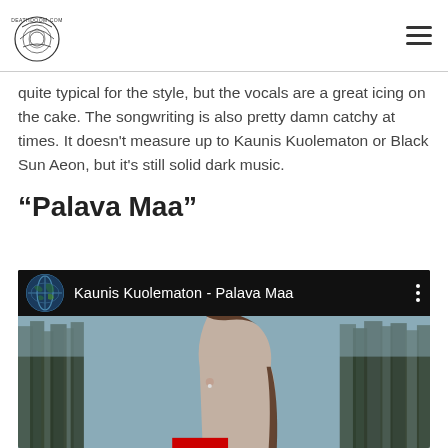deathdoom.com
quite typical for the style, but the vocals are a great icing on the cake. The songwriting is also pretty damn catchy at times. It doesn't measure up to Kaunis Kuolematon or Black Sun Aeon, but it's still solid dark music.
“Palava Maa”
[Figure (screenshot): YouTube video embed showing 'Kaunis Kuolematon - Palava Maa' with a globe thumbnail icon on the left, the video title in white text on a black bar, and a three-dot menu icon. Below the bar is a video still showing a woman in profile view against a blurred forest background, with a red YouTube progress bar partially visible at the bottom.]